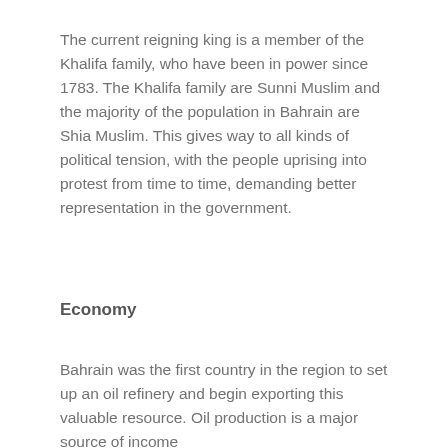The current reigning king is a member of the Khalifa family, who have been in power since 1783. The Khalifa family are Sunni Muslim and the majority of the population in Bahrain are Shia Muslim. This gives way to all kinds of political tension, with the people uprising into protest from time to time, demanding better representation in the government.
Economy
Bahrain was the first country in the region to set up an oil refinery and begin exporting this valuable resource. Oil production is a major source of income